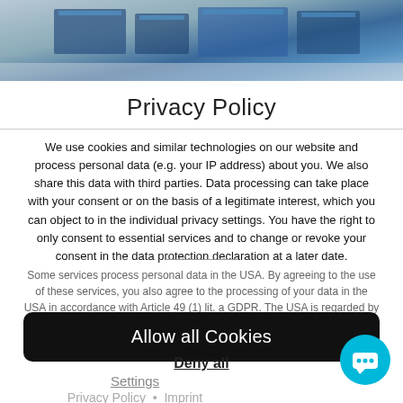[Figure (photo): Aerial or top-down photo of industrial/warehouse facility with blue roofs and grey surroundings]
Privacy Policy
We use cookies and similar technologies on our website and process personal data (e.g. your IP address) about you. We also share this data with third parties. Data processing can take place with your consent or on the basis of a legitimate interest, which you can object to in the individual privacy settings. You have the right to only consent to essential services and to change or revoke your consent in the data protection declaration at a later date.
Some services process personal data in the USA. By agreeing to the use of these services, you also agree to the processing of your data in the USA in accordance with Article 49 (1) lit. a GDPR. The USA is regarded by the ECJ as a
Allow all Cookies
Deny all
Settings
Privacy Policy • Imprint